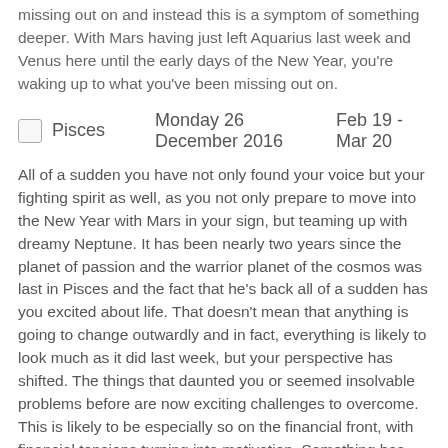missing out on and instead this is a symptom of something deeper. With Mars having just left Aquarius last week and Venus here until the early days of the New Year, you're waking up to what you've been missing out on.
Pisces   Monday 26 December 2016   Feb 19 - Mar 20
All of a sudden you have not only found your voice but your fighting spirit as well, as you not only prepare to move into the New Year with Mars in your sign, but teaming up with dreamy Neptune. It has been nearly two years since the planet of passion and the warrior planet of the cosmos was last in Pisces and the fact that he's back all of a sudden has you excited about life. That doesn't mean that anything is going to change outwardly and in fact, everything is likely to look much as it did last week, but your perspective has shifted. The things that daunted you or seemed insolvable problems before are now exciting challenges to overcome. This is likely to be especially so on the financial front, with financial tensions turning into motivation. Something has shifted across your life and you're ready to start fighting